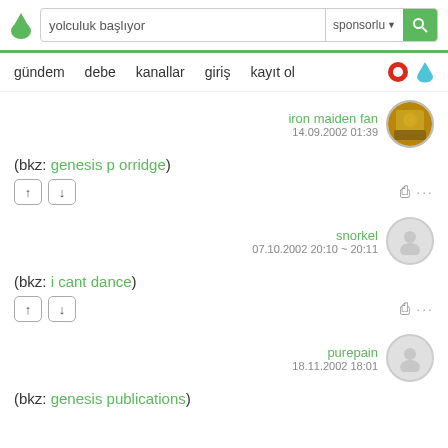yolculuk başlıyor | sponsorlu - nav: gündem debe kanallar giriş kayıt ol
iron maiden fan
14.09.2002 01:39
(bkz: genesis p orridge)
snorkel
07.10.2002 20:10 ~ 20:11
(bkz: i cant dance)
purepain
18.11.2002 18:01
(bkz: genesis publications)